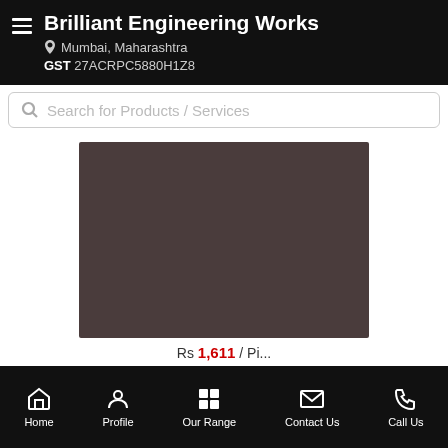Brilliant Engineering Works | Mumbai, Maharashtra | GST 27ACRPC5880H1Z8
Search for Products / Services
[Figure (photo): Product image placeholder - dark brownish-grey rectangle showing a product from Brilliant Engineering Works]
Rs 1,611 / Pi...
Home | Profile | Our Range | Contact Us | Call Us